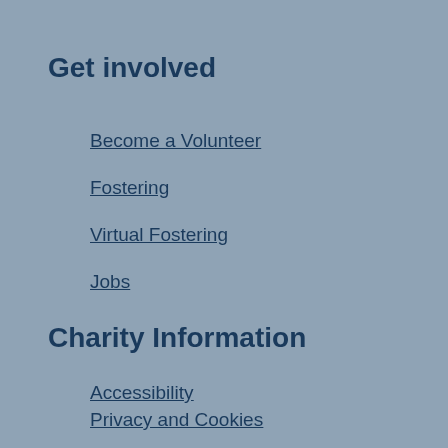Get involved
Become a Volunteer
Fostering
Virtual Fostering
Jobs
Charity Information
Accessibility
Privacy and Cookies
Ethical Fundraising Statement
Terms & Conditions